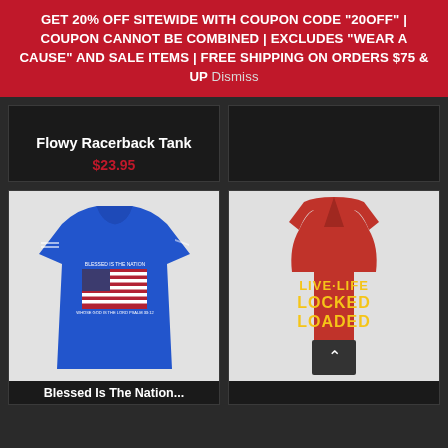GET 20% OFF SITEWIDE WITH COUPON CODE "20OFF" | COUPON CANNOT BE COMBINED | EXCLUDES "WEAR A CAUSE" AND SALE ITEMS | FREE SHIPPING ON ORDERS $75 & UP Dismiss
Flowy Racerback Tank
$23.95
[Figure (photo): Blue women's t-shirt with American flag graphic and text 'Blessed is the Nation']
[Figure (photo): Red women's racerback tank top with text 'LIVE LIFE LOCKED LOADED' in yellow and black]
Blessed Is The Nation...